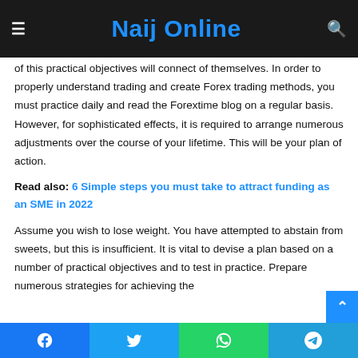Naij Online
of this practical objectives will connect of themselves. In order to properly understand trading and create Forex trading methods, you must practice daily and read the Forextime blog on a regular basis. However, for sophisticated effects, it is required to arrange numerous adjustments over the course of your lifetime. This will be your plan of action.
Read also: 6 Simple steps you must take to attract funding as an SME in 2022
Assume you wish to lose weight. You have attempted to abstain from sweets, but this is insufficient. It is vital to devise a plan based on a number of practical objectives and to test in practice. Prepare numerous strategies for achieving the